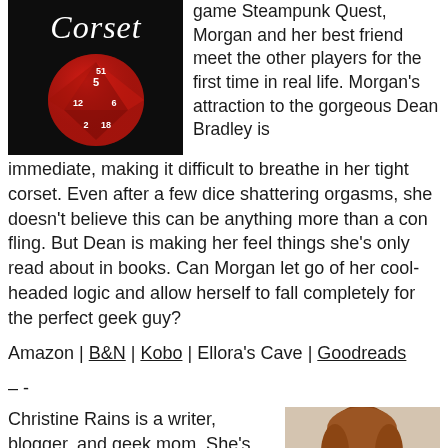[Figure (photo): Book cover image showing 'Corset' title with a red polyhedral die on dark background]
game Steampunk Quest, Morgan and her best friend meet the other players for the first time in real life. Morgan's attraction to the gorgeous Dean Bradley is immediate, making it difficult to breathe in her tight corset. Even after a few dice shattering orgasms, she doesn't believe this can be anything more than a con fling. But Dean is making her feel things she's only read about in books. Can Morgan let go of her cool-headed logic and allow herself to fall completely for the perfect geek guy?
Amazon | B&N | Kobo | Ellora's Cave | Goodreads
– -
Christine Rains is a writer, blogger, and geek mom. She's married to her best friend and fellow geek living in south-
[Figure (photo): Author photo of Christine Rains, a woman with reddish-brown hair and glasses]